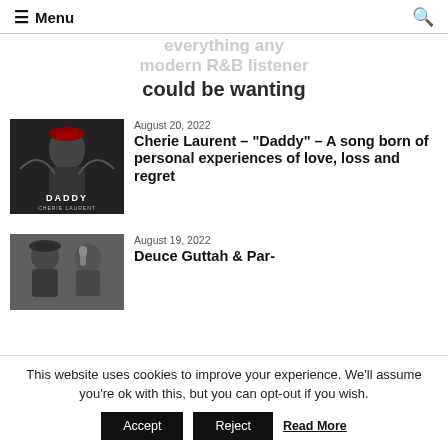≡ Menu  [search icon]
everything any modern R&B listener could be wanting
August 20, 2022
Cherie Laurent – "Daddy" – A song born of personal experiences of love, loss and regret
August 19, 2022
Deuce Guttah & Par-
This website uses cookies to improve your experience. We'll assume you're ok with this, but you can opt-out if you wish. Accept  Reject  Read More